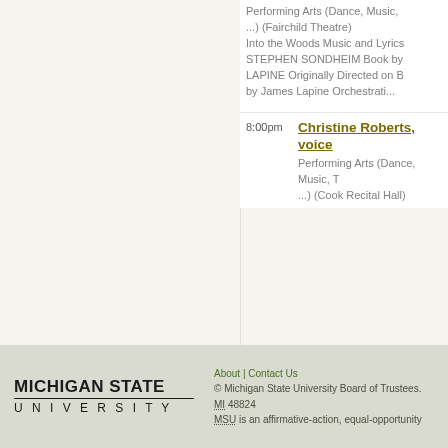Performing Arts (Dance, Music, ...) (Fairchild Theatre) Into the Woods Music and Lyrics STEPHEN SONDHEIM Book by LAPINE Originally Directed on B by James Lapine Orchestrati...
8:00pm
Christine Roberts, voice
Performing Arts (Dance, Music, T ...) (Cook Recital Hall)
About | Contact Us © Michigan State University Board of Trustees. MI 48824 MSU is an affirmative-action, equal-opportunity